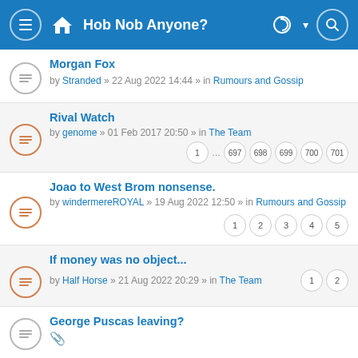Hob Nob Anyone?
Morgan Fox
by Stranded » 22 Aug 2022 14:44 » in Rumours and Gossip
Rival Watch
by genome » 01 Feb 2017 20:50 » in The Team — pages: 1 ... 697 698 699 700 701
Joao to West Brom nonsense.
by windermereROYAL » 19 Aug 2022 12:50 » in Rumours and Gossip — pages: 1 2 3 4 5
If money was no object...
by Half Horse » 21 Aug 2022 20:29 » in The Team — pages: 1 2
George Puscas leaving?